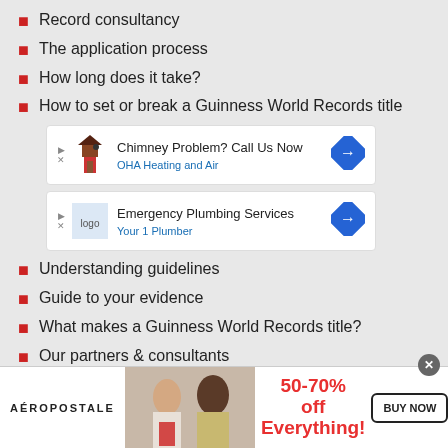Record consultancy
The application process
How long does it take?
How to set or break a Guinness World Records title
[Figure (screenshot): Advertisement: Chimney Problem? Call Us Now - OHA Heating and Air]
[Figure (screenshot): Advertisement: Emergency Plumbing Services - Your 1 Plumber]
Understanding guidelines
Guide to your evidence
What makes a Guinness World Records title?
Our partners & consultants
Record policies
[Figure (screenshot): Aeropostale advertisement banner: 50-70% off Everything! BUY NOW]